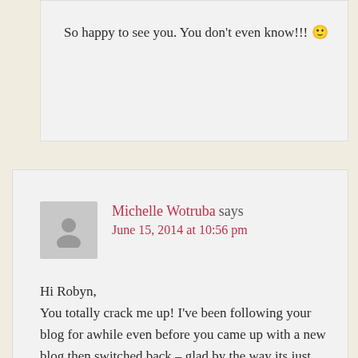So happy to see you. You don't even know!!! 🙂
Michelle Wotruba says
June 15, 2014 at 10:56 pm
Hi Robyn,
You totally crack me up! I've been following your blog for awhile even before you came up with a new blog then switched back – glad by the way its just easier for me to remember this one. I'm following you on instagram &